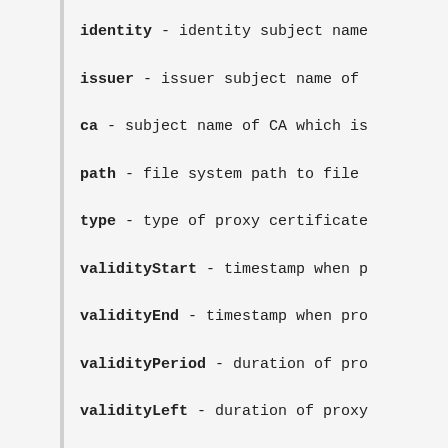identity - identity subject name
issuer - issuer subject name of
ca - subject name of CA which is
path - file system path to file
type - type of proxy certificate
validityStart - timestamp when p
validityEnd - timestamp when pro
validityPeriod - duration of pro
validityLeft - duration of proxy